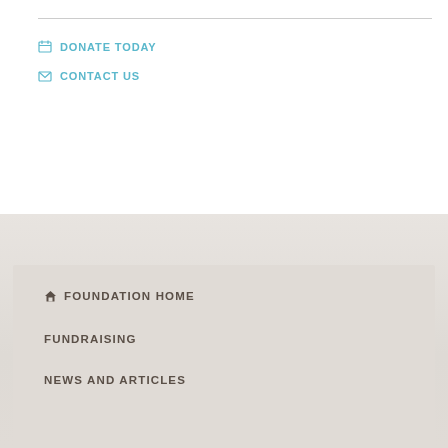DONATE TODAY
CONTACT US
FOUNDATION HOME
FUNDRAISING
NEWS AND ARTICLES